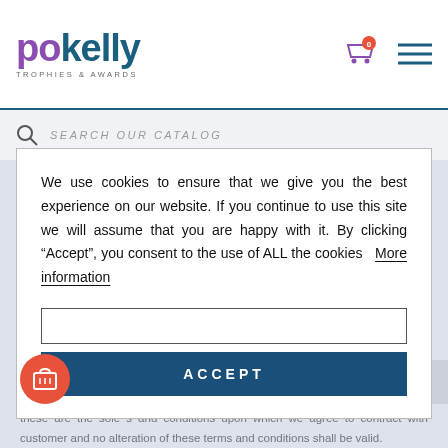pokelly TROPHIES & AWARDS
SEARCH OUR CATALOG
We use cookies to ensure that we give you the best experience on our website. If you continue to use this site we will assume that you are happy with it. By clicking “Accept”, you consent to the use of ALL the cookies   More information
ACCEPT
bound by these terms and conditions as well as by our returns policy. We advise the customer to keep a copy of these terms for their personal reference as these are the sole s and conditions upon which we agree to contract with customer and no alteration of these terms and conditions shall be valid.